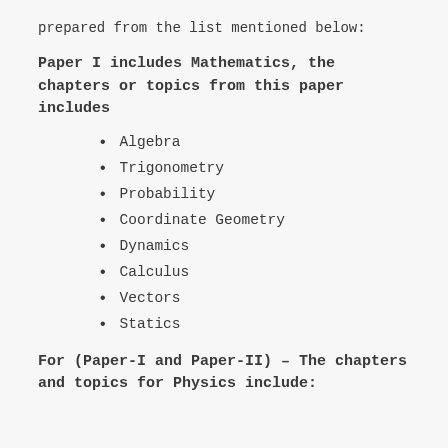prepared from the list mentioned below:
Paper I includes Mathematics, the chapters or topics from this paper includes
Algebra
Trigonometry
Probability
Coordinate Geometry
Dynamics
Calculus
Vectors
Statics
For (Paper-I and Paper-II) – The chapters and topics for Physics include: